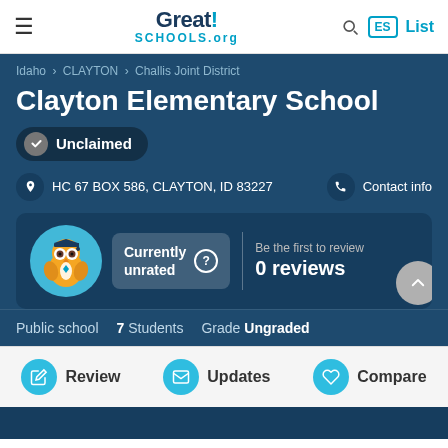GreatSchools.org — ES List
Idaho › CLAYTON › Challis Joint District
Clayton Elementary School
Unclaimed
HC 67 BOX 586, CLAYTON, ID 83227 — Contact info
[Figure (infographic): Owl mascot with currently unrated badge and 0 reviews text]
Public school   7 Students   Grade Ungraded
Review   Updates   Compare